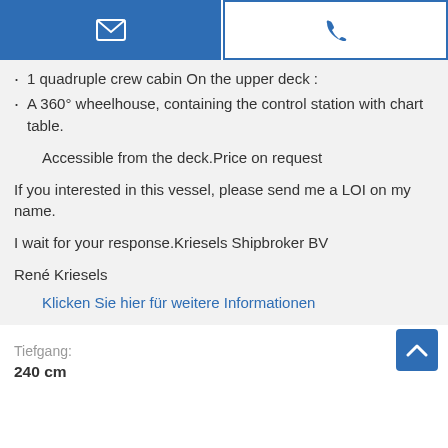[Figure (other): Email button (blue with envelope icon) and Phone button (white with phone icon, blue border)]
1 quadruple crew cabin On the upper deck :
A 360° wheelhouse, containing the control station with chart table.
Accessible from the deck.Price on request
If you interested in this vessel, please send me a LOI on my name.
I wait for your response.Kriesels Shipbroker BV
René Kriesels
Klicken Sie hier für weitere Informationen
Tiefgang:
240 cm